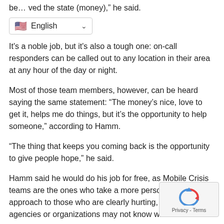be… ved the state (money), he said.
[Figure (screenshot): Language selector UI element showing US flag, 'English' text, and a dropdown arrow]
It's a noble job, but it's also a tough one: on-call responders can be called out to any location in their area at any hour of the day or night.
Most of those team members, however, can be heard saying the same statement: “The money’s nice, love to get it, helps me do things, but it’s the opportunity to help someone,” according to Hamm.
“The thing that keeps you coming back is the opportunity to give people hope,” he said.
Hamm said he would do his job for free, as Mobile Crisis teams are the ones who take a more personalized approach to those who are clearly hurting, even when agencies or organizations may not know what to do.
“We are called upon to help people when they are sometimes at their worst and they don’t have anywhere to turn,” he said. “That’s why I’m so pro-mobile crisis… Somebody at some…
[Figure (screenshot): reCAPTCHA widget overlay in bottom right corner showing recycle/refresh icon and Privacy - Terms text]